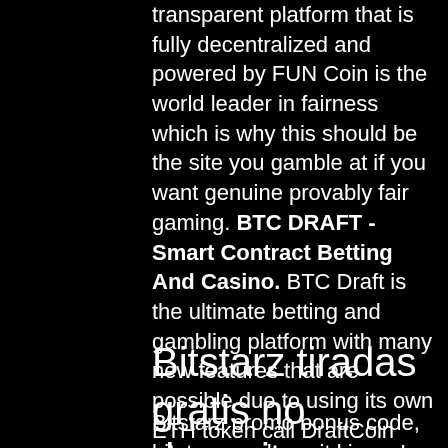transparent platform that is fully decentralized and powered by FUN Coin is the world leader in fairness which is why this should be the site you gamble at if you want genuine provably fair gaming. BTC DRAFT - Smart Contract Betting And Casino. BTC Draft is the ultimate betting and gambling platform with many new features that are possible due to using its own ETH token call DraftCoin (DFT) along with smart contracts. The platform is already up and running so punters can buy the sites coin to sample the latest blockchain casino games along with placing sports bets in crypto, bitstarz promo code tours gratuits.
Bitstarz tiradas gratis no deposit
Bitstarz promo bonus code, bitstarz no deposit kings. Le bitstarz casino bonus offers players a profit if 20 t...